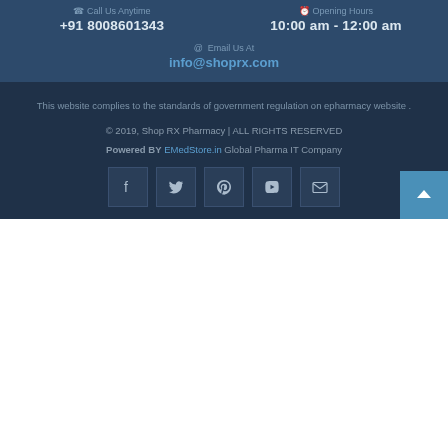Call Us Anytime
+91 8008601343
Opening Hours
10:00 am - 12:00 am
@ Email Us At
info@shoprx.com
This website complies to the standards of government regulation on epharmacy website .
© 2019, Shop RX Pharmacy | ALL RIGHTS RESERVED
Powered BY EMedStore.in Global Pharma IT Company
[Figure (infographic): Row of 5 social media icon buttons: Facebook, Twitter, Pinterest, YouTube, Email]